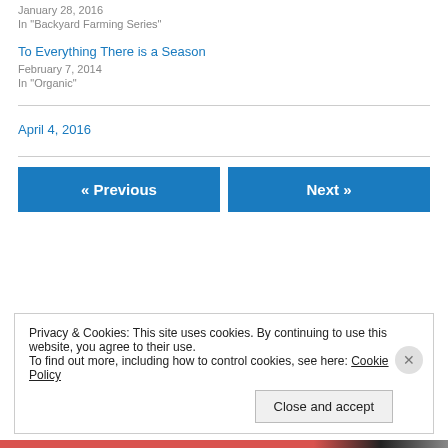January 28, 2016
In "Backyard Farming Series"
To Everything There is a Season
February 7, 2014
In "Organic"
April 4, 2016
« Previous
Next »
Privacy & Cookies: This site uses cookies. By continuing to use this website, you agree to their use.
To find out more, including how to control cookies, see here: Cookie Policy
Close and accept